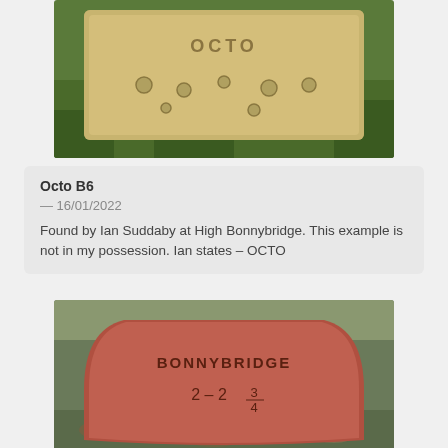[Figure (photo): Close-up photo of a sandy/yellowish brick with 'OCTO' impressed text and several circular holes/indentations, lying on grass.]
Octo B6
— 16/01/2022
Found by Ian Suddaby at High Bonnybridge. This example is not in my possession. Ian states – OCTO
[Figure (photo): Photo of a reddish-brown brick with 'BONNYBRIDGE' impressed text and '2-2 3/4' stamped on it, lying on frosty grass and dead leaves.]